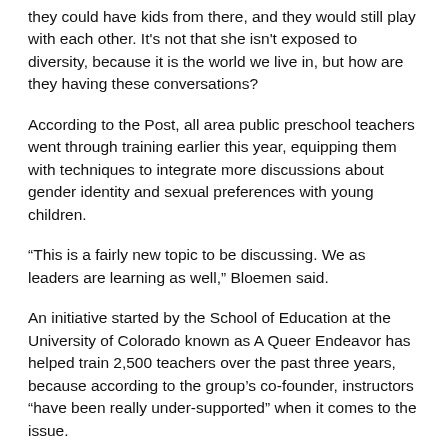they could have kids from there, and they would still play with each other. It's not that she isn't exposed to diversity, because it is the world we live in, but how are they having these conversations?
According to the Post, all area public preschool teachers went through training earlier this year, equipping them with techniques to integrate more discussions about gender identity and sexual preferences with young children.
“This is a fairly new topic to be discussing. We as leaders are learning as well,” Bloemen said.
An initiative started by the School of Education at the University of Colorado known as A Queer Endeavor has helped train 2,500 teachers over the past three years, because according to the group’s co-founder, instructors “have been really under-supported” when it comes to the issue.
“Times are changing,” Bethy Leonardi, a research associate and